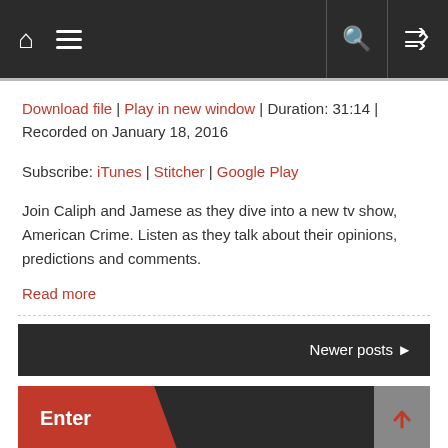Navigation bar with home, menu, search, and shuffle icons
Download file | Play in new window | Duration: 31:14 | Recorded on January 18, 2016
Subscribe: iTunes | Stitcher | Google Play
Join Caliph and Jamese as they dive into a new tv show, American Crime. Listen as they talk about their opinions, predictions and comments.
Read more
Newer posts ▶
Enter
Username